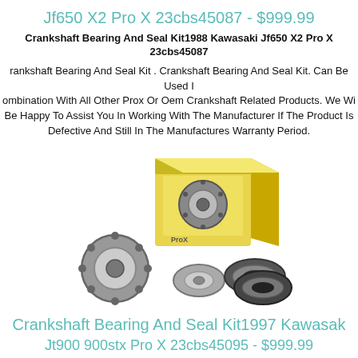Jf650 X2 Pro X 23cbs45087 - $999.99
Crankshaft Bearing And Seal Kit1988 Kawasaki Jf650 X2 Pro X 23cbs45087
Crankshaft Bearing And Seal Kit . Crankshaft Bearing And Seal Kit. Can Be Used In Combination With All Other Prox Or Oem Crankshaft Related Products. We Will Be Happy To Assist You In Working With The Manufacturer If The Product Is Defective And Still In The Manufactures Warranty Period.
[Figure (photo): Product photo showing a crankshaft bearing and seal kit with bearings, seals, and yellow ProX branded box]
Crankshaft Bearing And Seal Kit1997 Kawasaki Jt900 900stx Pro X 23cbs45095 - $999.99